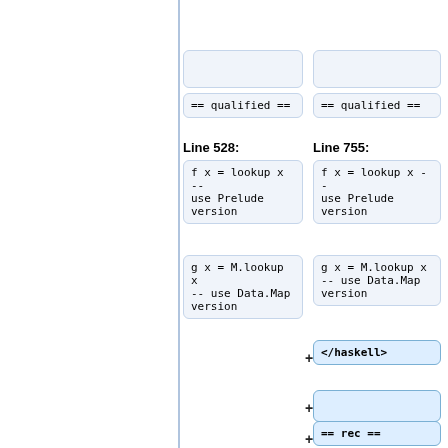== qualified ==
== qualified ==
Line 528:
Line 755:
f x = lookup x -- use Prelude version
f x = lookup x -- use Prelude version
g x = M.lookup x -- use Data.Map version
g x = M.lookup x -- use Data.Map version
</haskell>
== rec ==
The [https://downloads.haskell.org/~ghc/latest/docs/...